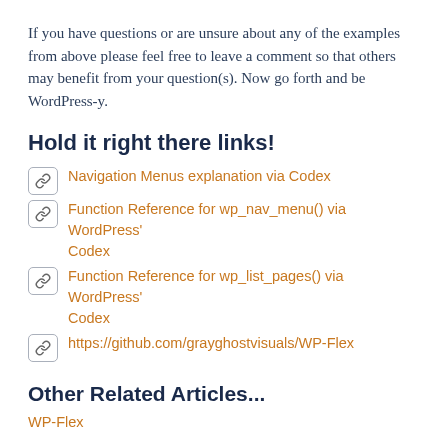If you have questions or are unsure about any of the examples from above please feel free to leave a comment so that others may benefit from your question(s). Now go forth and be WordPress-y.
Hold it right there links!
Navigation Menus explanation via Codex
Function Reference for wp_nav_menu() via WordPress' Codex
Function Reference for wp_list_pages() via WordPress' Codex
https://github.com/grayghostvisuals/WP-Flex
Other Related Articles...
WP-Flex